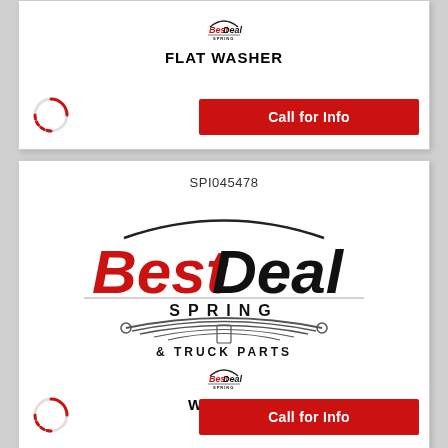[Figure (logo): BestDeal Spring logo small (top card)]
FLAT WASHER
[Figure (other): Loading spinner icon (red dashed circle)]
Call for Info
SPI045478
[Figure (logo): BestDeal Spring & Truck Parts large logo with leaf spring illustration]
[Figure (logo): BestDeal Spring logo small (bottom card)]
WASHER
[Figure (other): Loading spinner icon (red dashed circle)]
Call for Info